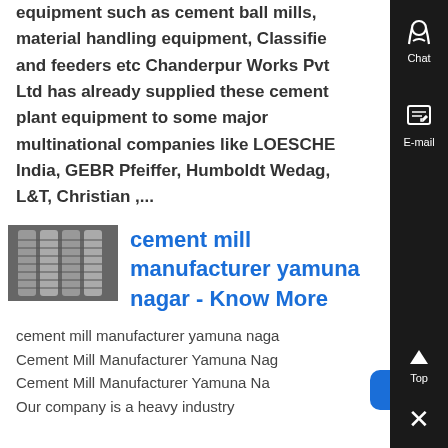equipment such as cement ball mills, material handling equipment, Classifiers and feeders etc Chanderpur Works Pvt Ltd has already supplied these cement plant equipment to some major multinational companies like LOESCHE India, GEBR Pfeiffer, Humboldt Wedag, L&T, Christian ,...
[Figure (photo): Thumbnail photo of industrial gears/mill equipment]
cement mill manufacturer yamuna nagar - Know More
cement mill manufacturer yamuna nagar Cement Mill Manufacturer Yamuna Nagar Cement Mill Manufacturer Yamuna Nagar Our company is a heavy industry